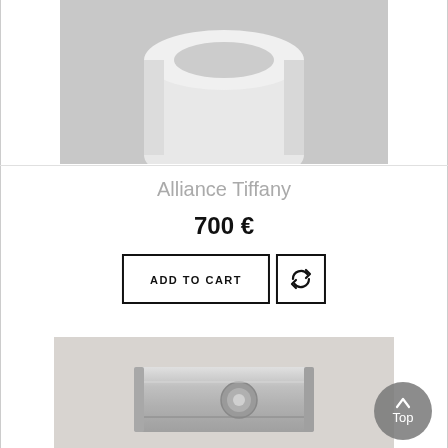[Figure (photo): Top portion of a white ceramic ring or jewelry item photographed against a light gray background]
Alliance Tiffany
700 €
[Figure (other): Add to Cart button and a refresh/compare icon button]
[Figure (photo): Silver wide band ring with a circular decorative element, photographed against a light gray background]